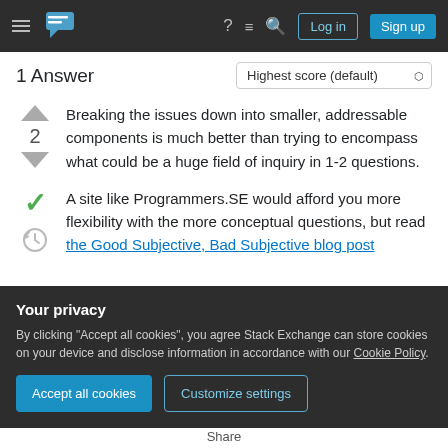Stack Exchange navigation bar with Log in and Sign up buttons
1 Answer
Breaking the issues down into smaller, addressable components is much better than trying to encompass what could be a huge field of inquiry in 1-2 questions.
A site like Programmers.SE would afford you more flexibility with the more conceptual questions, but read the Good Subjective, Bad Subjective blog post
Your privacy
By clicking "Accept all cookies", you agree Stack Exchange can store cookies on your device and disclose information in accordance with our Cookie Policy.
Accept all cookies
Customize settings